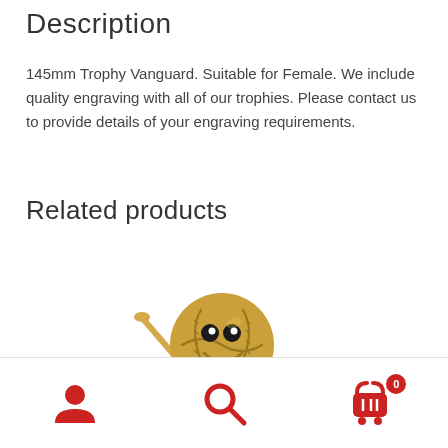Description
145mm Trophy Vanguard. Suitable for Female. We include quality engraving with all of our trophies. Please contact us to provide details of your engraving requirements.
Related products
[Figure (photo): A golden bronze baseball trophy figurine with a smiling baseball head, holding a bat, with arms and legs, standing on a base.]
User icon | Search icon | Cart icon with badge 0